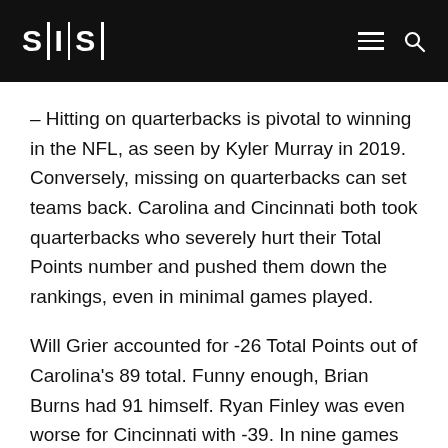SIS
– Hitting on quarterbacks is pivotal to winning in the NFL, as seen by Kyler Murray in 2019. Conversely, missing on quarterbacks can set teams back. Carolina and Cincinnati both took quarterbacks who severely hurt their Total Points number and pushed them down the rankings, even in minimal games played.
Will Grier accounted for -26 Total Points out of Carolina's 89 total. Funny enough, Brian Burns had 91 himself. Ryan Finley was even worse for Cincinnati with -39. In nine games in which Grier